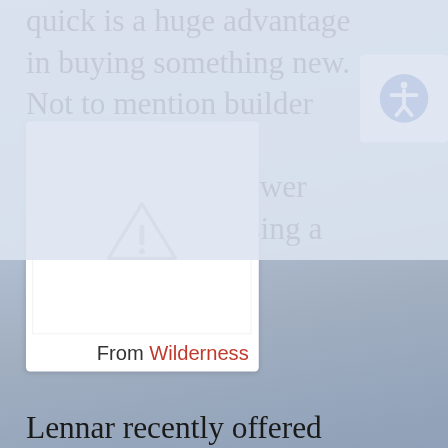quick is a huge advantage in buying something new. Not to mention builder warranties and sometimes even lower interest rates by using a builder's lender.
[Figure (other): A card or embed block showing a warning/broken image icon (gray triangle with exclamation mark) indicating a missing or unavailable image, with caption 'From Wilderness' below it.]
From Wilderness
Lennar recently offered units at its River Terrace Condominiums at River Strand project for $1,000